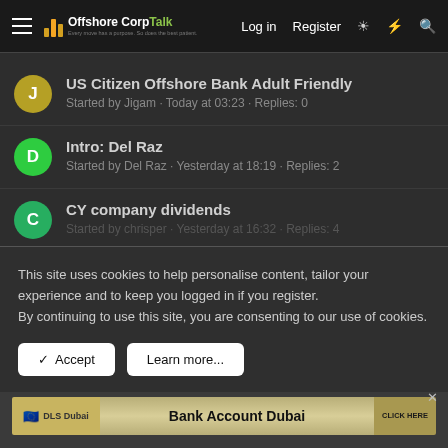OffshoreCorp Talk — Log in · Register
US Citizen Offshore Bank Adult Friendly
Started by Jigam · Today at 03:23 · Replies: 0
Intro: Del Raz
Started by Del Raz · Yesterday at 18:19 · Replies: 2
CY company dividends
Started by chrisper · Yesterday at 16:32 · Replies: 4
This site uses cookies to help personalise content, tailor your experience and to keep you logged in if you register.
By continuing to use this site, you are consenting to our use of cookies.
✓ Accept
Learn more...
[Figure (screenshot): Advertisement banner for Bank Account Dubai by DLS Dubai with CLICK HERE button]